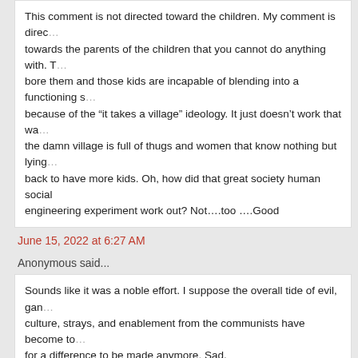This comment is not directed toward the children. My comment is directed towards the parents of the children that you cannot do anything with. They bore them and those kids are incapable of blending into a functioning society because of the “it takes a village” ideology. It just doesn’t work that way when the damn village is full of thugs and women that know nothing but lying on their back to have more kids. Oh, how did that great society human social engineering experiment work out? Not….too ….Good
June 15, 2022 at 6:27 AM
Anonymous said...
Sounds like it was a noble effort. I suppose the overall tide of evil, gang culture, strays, and enablement from the communists have become too great for a difference to be made anymore. Sad.
June 15, 2022 at 7:26 AM
Anonymous said...
12:52 Paying for schools is not socialism, it's common sense. If you believe millions of people with the right to be armed will simply accept a hopeless life as ignorant cattle to be forever herded by their educated masters you are being extremely unrealistic. But then again, maybe you don't believe THEY have the right to be armed. I wonder.